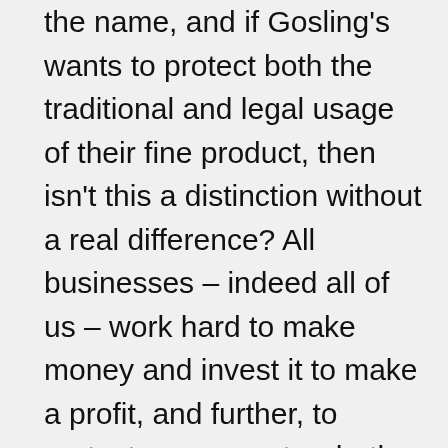the name, and if Gosling's wants to protect both the traditional and legal usage of their fine product, then isn't this a distinction without a real difference? All businesses – indeed all of us – work hard to make money and invest it to make a profit, and further, to protect our property whether it be our homes or a name we have had the wisdom and foresight to protect.
The world is rich with people who failed to protect their work, or whose work was purchased and promoted by a large corporation who did so. The United States (and other)